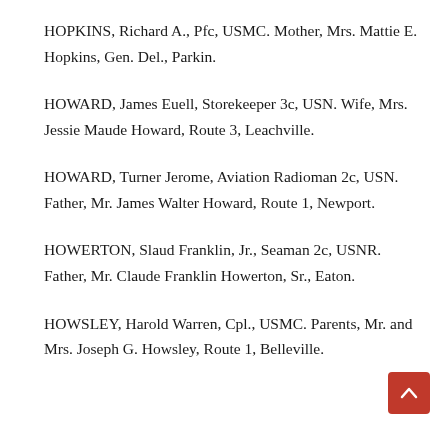HOPKINS, Richard A., Pfc, USMC. Mother, Mrs. Mattie E. Hopkins, Gen. Del., Parkin.
HOWARD, James Euell, Storekeeper 3c, USN. Wife, Mrs. Jessie Maude Howard, Route 3, Leachville.
HOWARD, Turner Jerome, Aviation Radioman 2c, USN. Father, Mr. James Walter Howard, Route 1, Newport.
HOWERTON, Slaud Franklin, Jr., Seaman 2c, USNR. Father, Mr. Claude Franklin Howerton, Sr., Eaton.
HOWSLEY, Harold Warren, Cpl., USMC. Parents, Mr. and Mrs. Joseph G. Howsley, Route 1, Belleville.